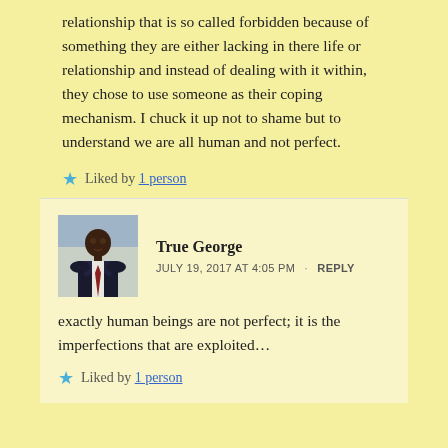relationship that is so called forbidden because of something they are either lacking in there life or relationship and instead of dealing with it within, they chose to use someone as their coping mechanism. I chuck it up not to shame but to understand we are all human and not perfect.
★ Liked by 1 person
[Figure (photo): Profile photo of True George, a man in a suit with a tie]
True George
JULY 19, 2017 AT 4:05 PM · REPLY
exactly human beings are not perfect; it is the imperfections that are exploited...
★ Liked by 1 person